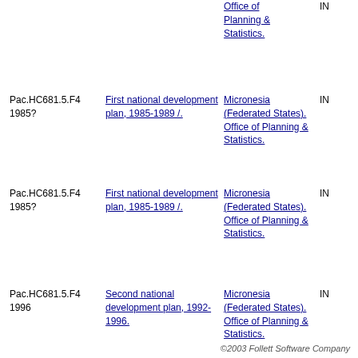| Call Number | Title | Author |  |
| --- | --- | --- | --- |
|  |  | Office of Planning & Statistics. | IN |
| Pac.HC681.5.F4 1985? | First national development plan, 1985-1989 /. | Micronesia (Federated States). Office of Planning & Statistics. | IN |
| Pac.HC681.5.F4 1985? | First national development plan, 1985-1989 /. | Micronesia (Federated States). Office of Planning & Statistics. | IN |
| Pac.HC681.5.F4 1996 | Second national development plan, 1992-1996. | Micronesia (Federated States). Office of Planning & Statistics. | IN |
©2003 Follett Software Company